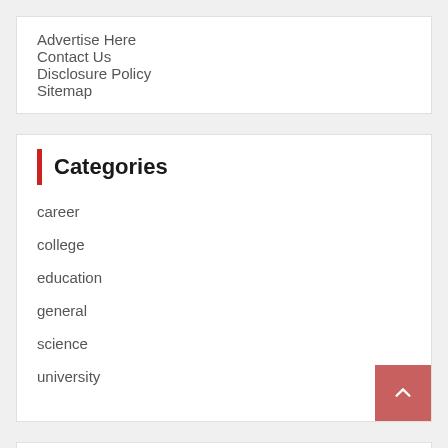Advertise Here
Contact Us
Disclosure Policy
Sitemap
Categories
career
college
education
general
science
university
SEPTEMBER 2022